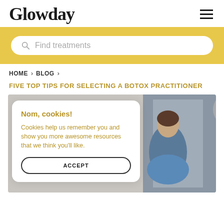Glowday
Find treatments
HOME > BLOG
FIVE TOP TIPS FOR SELECTING A BOTOX PRACTITIONER
[Figure (photo): Photo of a person in a clinical setting with gray/blue panels in the background]
Nom, cookies! Cookies help us remember you and show you more awesome resources that we think you'll like. ACCEPT